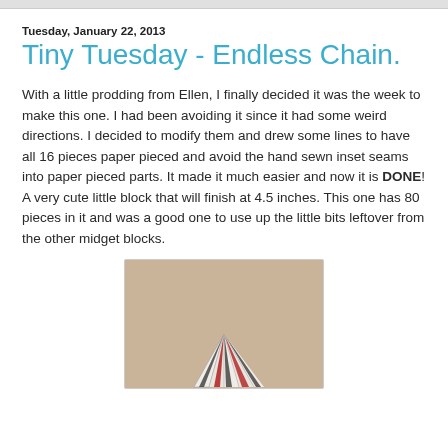Tuesday, January 22, 2013
Tiny Tuesday - Endless Chain.
With a little prodding from Ellen, I finally decided it was the week to make this one. I had been avoiding it since it had some weird directions. I decided to modify them and drew some lines to have all 16 pieces paper pieced and avoid the hand sewn inset seams into paper pieced parts. It made it much easier and now it is DONE! A very cute little block that will finish at 4.5 inches. This one has 80 pieces in it and was a good one to use up the little bits leftover from the other midget blocks.
[Figure (photo): A photo of quilt block pieces laid out on a tan/beige carpet, showing triangular paper-pieced sections with black, red, white and cream fabrics arranged in a star or chain pattern.]